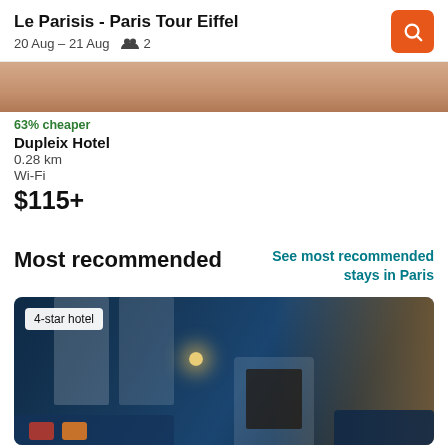Le Parisis - Paris Tour Eiffel
20 Aug – 21 Aug   2
[Figure (photo): Partial hotel image strip at top]
63% cheaper
Dupleix Hotel
0.28 km
Wi-Fi
$115+
Most recommended
See most recommended stays in Paris
[Figure (photo): Hotel interior photo showing elegant blue-themed room with bookshelves, fireplace, and luxury furnishings. Badge reads '4-star hotel'.]